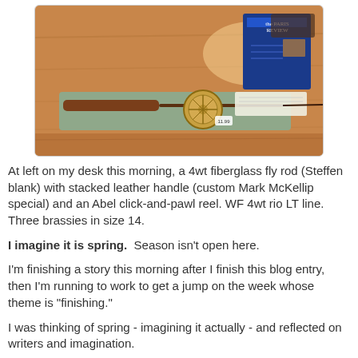[Figure (photo): A fly fishing rod with stacked leather handle and Abel click-and-pawl reel resting on a wooden desk, with a Paris Review magazine visible in the background.]
At left on my desk this morning, a 4wt fiberglass fly rod (Steffen blank) with stacked leather handle (custom Mark McKellip special) and an Abel click-and-pawl reel. WF 4wt rio LT line.  Three brassies in size 14.
I imagine it is spring.  Season isn't open here.
I'm finishing a story this morning after I finish this blog entry, then I'm running to work to get a jump on the week whose theme is "finishing."
I was thinking of spring - imagining it actually - and reflected on writers and imagination.